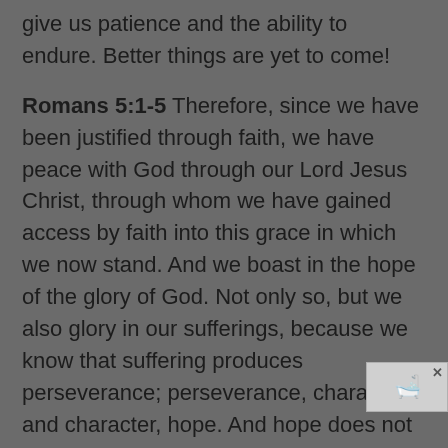give us patience and the ability to endure. Better things are yet to come!
Romans 5:1-5 Therefore, since we have been justified through faith, we have peace with God through our Lord Jesus Christ, through whom we have gained access by faith into this grace in which we now stand. And we boast in the hope of the glory of God. Not only so, but we also glory in our sufferings, because we know that suffering produces perseverance; perseverance, character; and character, hope. And hope does not put us to shame, because God's love has been poured out into our hearts through the Holy Spirit, who has been given to us.